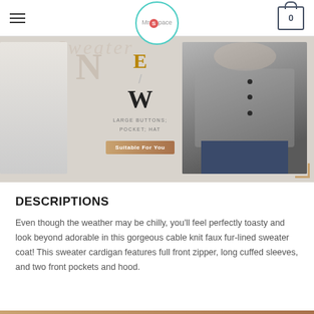MrSpace — navigation header with hamburger menu and cart icon showing 0
[Figure (photo): Banner image for a sweater/cardigan product page. Shows letter overlays N, E, W with decorative slash, text 'LARGE BUTTONS; POCKET; HAT', a golden-brown 'Suitable For You' button, a left sliver of a light gray sweater, and a right photo of a person wearing a gray cable-knit cardigan with large buttons.]
DESCRIPTIONS
Even though the weather may be chilly, you'll feel perfectly toasty and look beyond adorable in this gorgeous cable knit faux fur-lined sweater coat! This sweater cardigan features full front zipper, long cuffed sleeves, and two front pockets and hood.